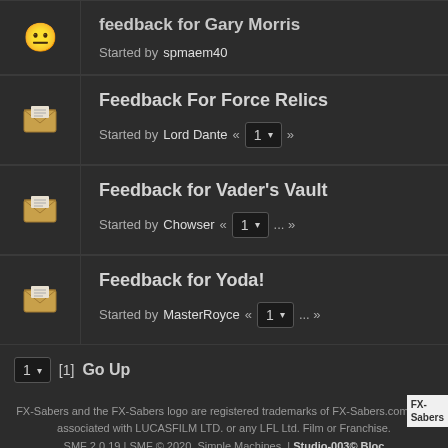feedback for Gary Morris - Started by spmaem40
Feedback For Force Relics - Started by Lord Dante « 1 »
Feedback for Vader's Vault - Started by Chowser « 1 ... »
Feedback for Yoda! - Started by MasterRoyce « 1 ... »
1 ▾  [1]  Go Up
FX-Sabers and the FX-Sabers logo are registered trademarks of FX-Sabers.com. Not associated with LUCASFILM LTD. or any LFL Ltd. Film or Franchise.
SMF 2.0.19 | SMF © 2020, Simple Machines  |  Studio-003© Bloc